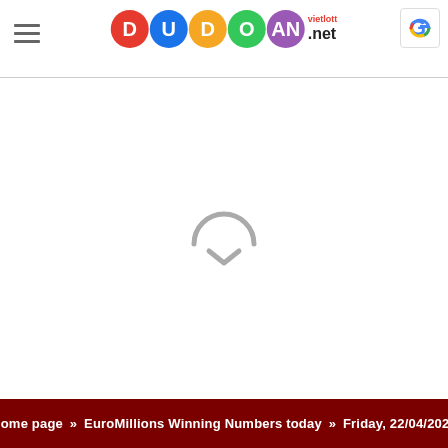DUDOAN vietlott .net [logo with colored balls] [Google icon]
[Figure (other): Loading spinner icon — a gray semicircle arc with a downward chevron, indicating content is loading]
Home page » EuroMillions Winning Numbers today » Friday, 22/04/2022